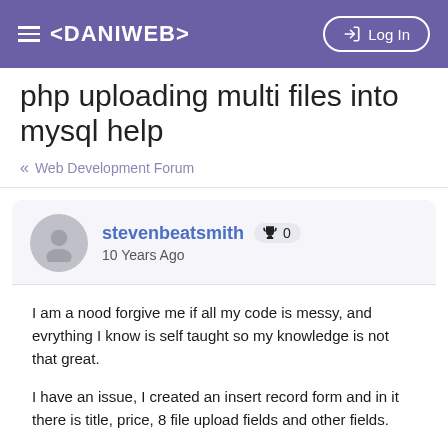≡ <DANIWEB>  → Log In
php uploading multi files into mysql help
« Web Development Forum
stevenbeatsmith  🏆 0
10 Years Ago
I am a nood forgive me if all my code is messy, and evrything I know is self taught so my knowledge is not that great.

I have an issue, I created an insert record form and in it there is title, price, 8 file upload fields and other fields.

every thing somewhat works fine, but the file upload has problems.